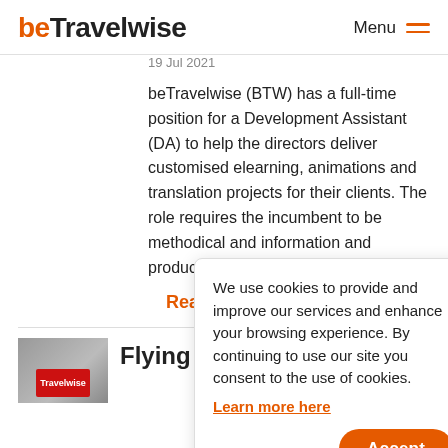beTravelwise — Menu
19 Jul 2021
beTravelwise (BTW) has a full-time position for a Development Assistant (DA) to help the directors deliver customised elearning, animations and translation projects for their clients. The role requires the incumbent to be methodical and [able to process] information and [create] products. The D[A will use] a range of softw[are…]
Read more
Flying to
We use cookies to provide and improve our services and enhance your browsing experience. By continuing to use our site you consent to the use of cookies.
Learn more here
Accept